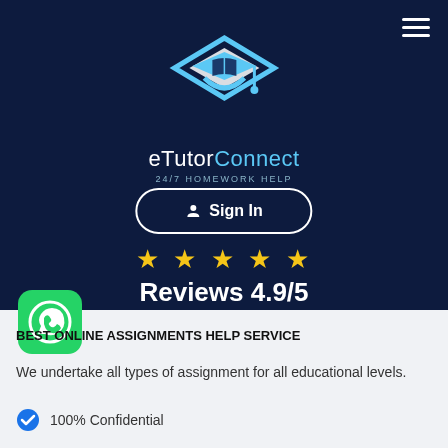[Figure (logo): eTutorConnect logo: graduation cap with book/diamond shape in light blue, on dark navy background, with brand name eTutorConnect and tagline 24/7 HOMEWORK HELP]
Sign In
★★★★★ Reviews 4.9/5
[Figure (logo): WhatsApp green circular icon with phone handset]
BEST ONLINE ASSIGNMENTS HELP SERVICE
We undertake all types of assignment for all educational levels.
100% Confidential